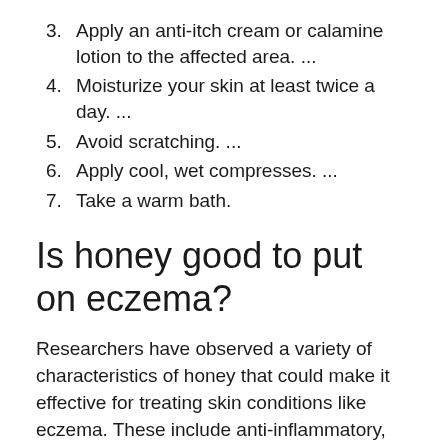3. Apply an anti-itch cream or calamine lotion to the affected area. ...
4. Moisturize your skin at least twice a day. ...
5. Avoid scratching. ...
6. Apply cool, wet compresses. ...
7. Take a warm bath.
Is honey good to put on eczema?
Researchers have observed a variety of characteristics of honey that could make it effective for treating skin conditions like eczema. These include anti-inflammatory, antioxidant, and antimicrobial properties.